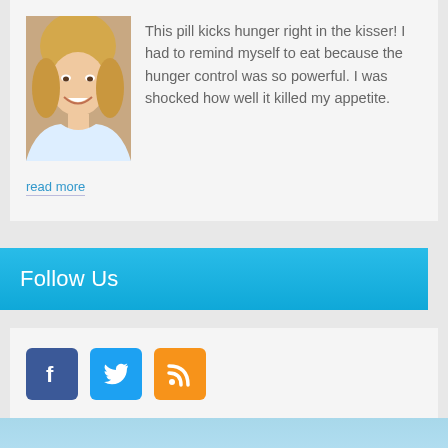[Figure (photo): Headshot of a smiling blonde woman]
This pill kicks hunger right in the kisser! I had to remind myself to eat because the hunger control was so powerful. I was shocked how well it killed my appetite.
read more
Follow Us
[Figure (infographic): Social media icons: Facebook (blue), Twitter (light blue), RSS (orange)]